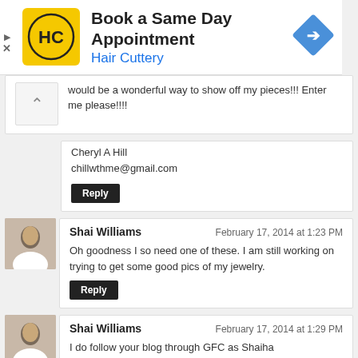[Figure (other): Hair Cuttery advertisement banner: 'Book a Same Day Appointment' with HC logo and blue arrow icon]
would be a wonderful way to show off my pieces!!! Enter me please!!!!
Cheryl A Hill
chillwthme@gmail.com
Reply
Shai Williams — February 17, 2014 at 1:23 PM
Oh goodness I so need one of these. I am still working on trying to get some good pics of my jewelry.
Reply
Shai Williams — February 17, 2014 at 1:29 PM
I do follow your blog through GFC as Shaiha